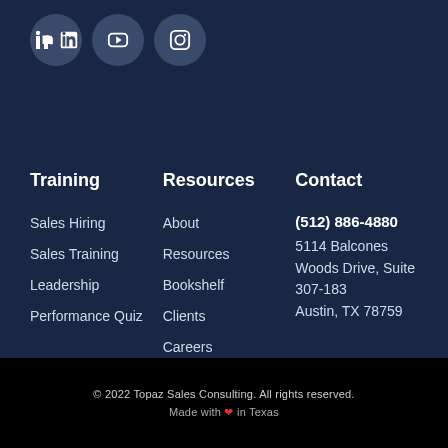[Figure (logo): Three social media icons (LinkedIn, YouTube, Instagram) as circular dark grey buttons on a dark navy background]
Training
Resources
Contact
Sales Hiring
Sales Training
Leadership
Performance Quiz
About
Resources
Bookshelf
Clients
Careers
(512) 886-4880
5114 Balcones Woods Drive, Suite 307-183
Austin, TX 78759
© 2022 Topaz Sales Consulting. All rights reserved.
Made with ❤ in Texas